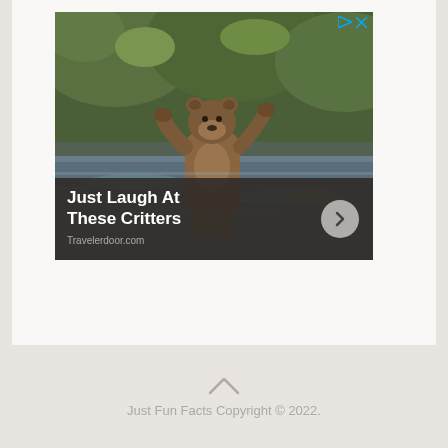[Figure (photo): Advertisement showing a brown bear standing upright in a river with forest background. Text overlay reads 'Just Laugh At These Critters' with Travelerdoor.com attribution and a forward chevron button.]
Just Fun Facts Copyright © 2022.